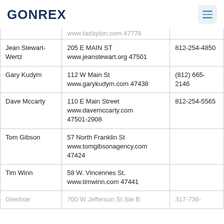GONREX
| Name | Address / Website / ZIP | Phone |
| --- | --- | --- |
|  | www.tadayton.com 47776 |  |
| Jean Stewart-Wertz | 205 E MAIN ST www.jeanstewart.org 47501 | 812-254-4850 |
| Gary Kudym | 112 W Main St www.garykudym.com 47438 | (812) 665-2146 |
| Dave Mccarty | 110 E Main Street www.davemccarty.com 47501-2908 | 812-254-5565 |
| Tom Gibson | 57 North Franklin St www.tomgibsonagency.com 47424 |  |
| Tim Winn | 58 W. Vincennes St. www.timwinn.com 47441 |  |
| Glenhoe | 700 W Jefferson St Ste B | 317-736- |